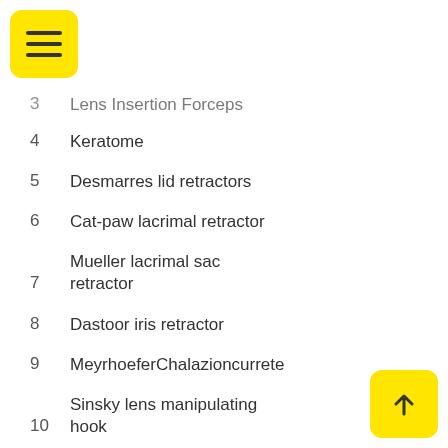3  Lens Insertion Forceps
4  Keratome
5  Desmarres lid retractors
6  Cat-paw lacrimal retractor
7  Mueller lacrimal sac retractor
8  Dastoor iris retractor
9  MeyrhoeferChalazioncurrete
10  Sinsky lens manipulating hook
11  IOL Manipulator